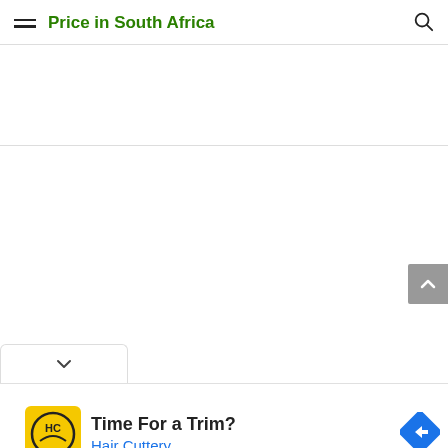Price in South Africa
[Figure (screenshot): Blank white content area with two horizontal dividers, representing an empty webpage body]
[Figure (other): Scroll-to-top button (grey chevron up arrow) in the upper right]
[Figure (other): Dropdown/collapse tab with chevron down arrow at bottom left]
[Figure (other): Advertisement banner at bottom: Hair Cuttery ad with yellow logo, 'Time For a Trim?' headline, 'Hair Cuttery' subtext in blue, and a blue diamond navigation icon]